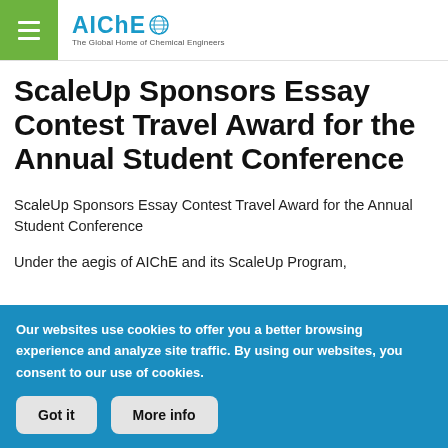AIChE – The Global Home of Chemical Engineers
ScaleUp Sponsors Essay Contest Travel Award for the Annual Student Conference
ScaleUp Sponsors Essay Contest Travel Award for the Annual Student Conference
Under the aegis of AIChE and its ScaleUp Program,
Our websites use cookies to offer you a better browsing experience and analyze site traffic. By using our websites, you consent to our use of cookies.
Got it   More info